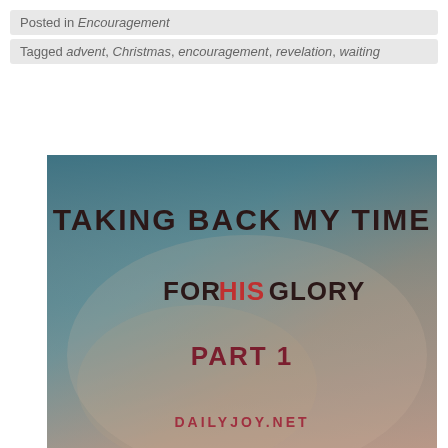Posted in Encouragement
Tagged advent, Christmas, encouragement, revelation, waiting
[Figure (illustration): A decorative image with a teal-to-warm gradient background featuring the text: 'TAKING BACK MY TIME / FOR HIS GLORY / PART 1 / DAILYJOY.NET' in bold stylized fonts. 'HIS' is highlighted in red/orange.]